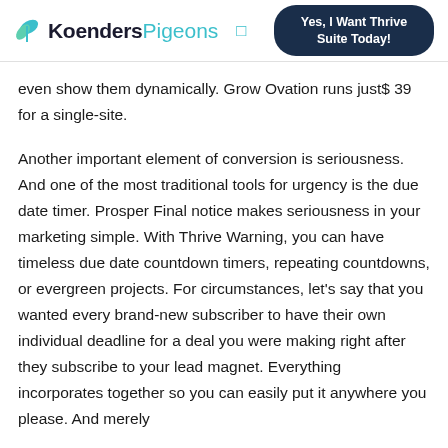Koenders Pigeons | Yes, I Want Thrive Suite Today!
even show them dynamically. Grow Ovation runs just$ 39 for a single-site.
Another important element of conversion is seriousness. And one of the most traditional tools for urgency is the due date timer. Prosper Final notice makes seriousness in your marketing simple. With Thrive Warning, you can have timeless due date countdown timers, repeating countdowns, or evergreen projects. For circumstances, let's say that you wanted every brand-new subscriber to have their own individual deadline for a deal you were making right after they subscribe to your lead magnet. Everything incorporates together so you can easily put it anywhere you please. And merely